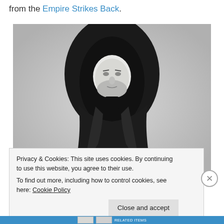from the Empire Strikes Back.
[Figure (photo): Black and white photo of a Star Wars action figure wearing a dark hooded robe, face visible with white skin and beard, standing upright against a light gray background.]
Privacy & Cookies: This site uses cookies. By continuing to use this website, you agree to their use.
To find out more, including how to control cookies, see here: Cookie Policy
Close and accept